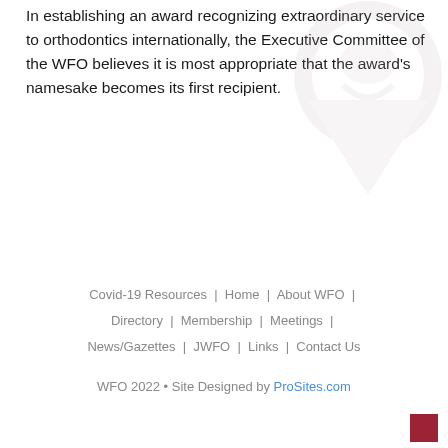In establishing an award recognizing extraordinary service to orthodontics internationally, the Executive Committee of the WFO believes it is most appropriate that the award's namesake becomes its first recipient.
[Figure (logo): WFO (World Federation of Orthodontists) logo watermark in light gray]
Covid-19 Resources | Home | About WFO | Directory | Membership | Meetings | News/Gazettes | JWFO | Links | Contact Us  WFO 2022 • Site Designed by ProSites.com